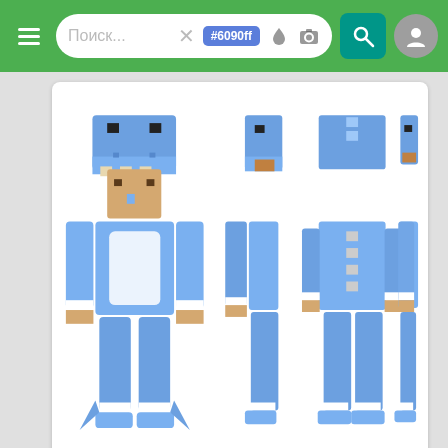Поиск... #6090ff
[Figure (screenshot): Minecraft skin preview showing a character in a blue dinosaur/dragon costume from four angles (front, side, back, side). The skin is predominantly light blue with white belly area and dragon head hat.]
cachoE
64x64  158  14
[Figure (screenshot): Partial view of another Minecraft skin card at the bottom of the page, showing a blue colored skin partially visible.]